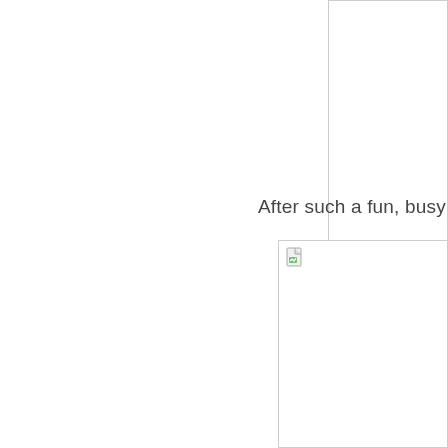[Figure (other): Partial view of a white rectangular box/frame cropped at the top-right corner of the page]
After such a fun, busy and ???
[Figure (other): A white rectangular frame/box with a small broken image icon in the top-left corner, positioned in the lower-right area of the page]